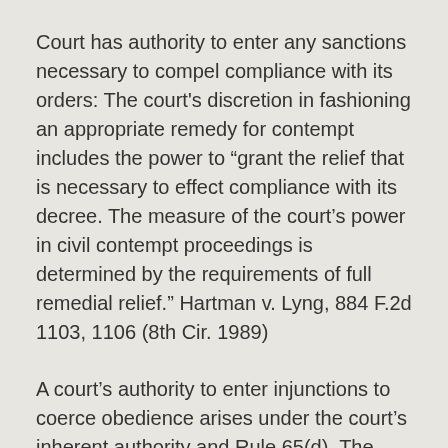Court has authority to enter any sanctions necessary to compel compliance with its orders: The court's discretion in fashioning an appropriate remedy for contempt includes the power to “grant the relief that is necessary to effect compliance with its decree. The measure of the court’s power in civil contempt proceedings is determined by the requirements of full remedial relief.” Hartman v. Lyng, 884 F.2d 1103, 1106 (8th Cir. 1989)
A court’s authority to enter injunctions to coerce obedience arises under the court’s inherent authority and Rule 65(d). The Supreme Court has held that Rule 65(d) applies broadly to any “equitable decree compelling obedience under the threat of contempt,” which includes not only injunctions and restraining orders, but also “enforcement orders and affirmative